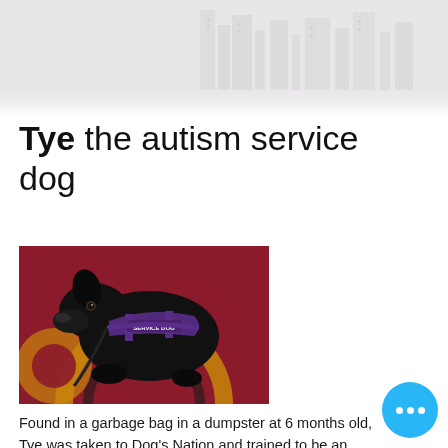[Figure (photo): Faded background image of a building or street scene in grayscale, used as decorative page header background.]
Tye the autism service dog
[Figure (photo): Black dog wearing a purple service dog vest/harness lying on a colorful rug with red, yellow, and black circular patterns. The vest reads 'SERVICE DOG'.]
Found in a garbage bag in a dumpster at 6 months old, Tye was taken to Dog's Nation and trained to be an autism service dog.
He travels with me as I make appearanc... and is known throughout the Missouri autism